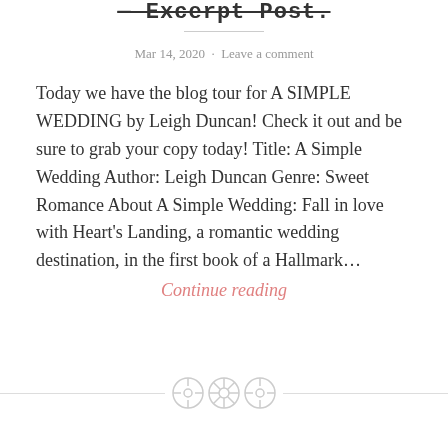— Excerpt Post.
Mar 14, 2020  ·  Leave a comment
Today we have the blog tour for A SIMPLE WEDDING by Leigh Duncan! Check it out and be sure to grab your copy today! Title: A Simple Wedding Author: Leigh Duncan Genre: Sweet Romance About A Simple Wedding: Fall in love with Heart's Landing, a romantic wedding destination, in the first book of a Hallmark… Continue reading